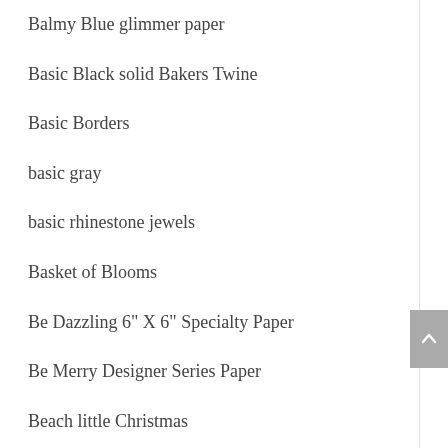Balmy Blue glimmer paper
Basic Black solid Bakers Twine
Basic Borders
basic gray
basic rhinestone jewels
Basket of Blooms
Be Dazzling 6" X 6" Specialty Paper
Be Merry Designer Series Paper
Beach little Christmas
Beautiful Baubles